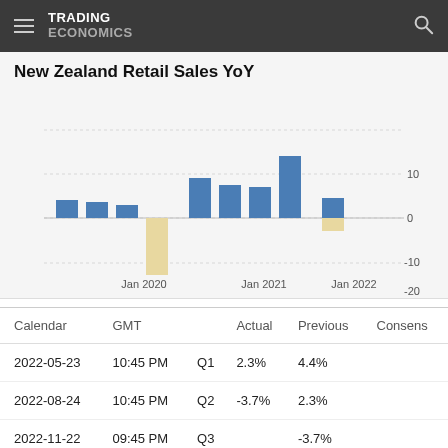TRADING ECONOMICS
New Zealand Retail Sales YoY
[Figure (bar-chart): New Zealand Retail Sales YoY]
| Calendar | GMT |  | Actual | Previous | Consens |
| --- | --- | --- | --- | --- | --- |
| 2022-05-23 | 10:45 PM | Q1 | 2.3% | 4.4% |  |
| 2022-08-24 | 10:45 PM | Q2 | -3.7% | 2.3% |  |
| 2022-11-22 | 09:45 PM | Q3 |  | -3.7% |  |